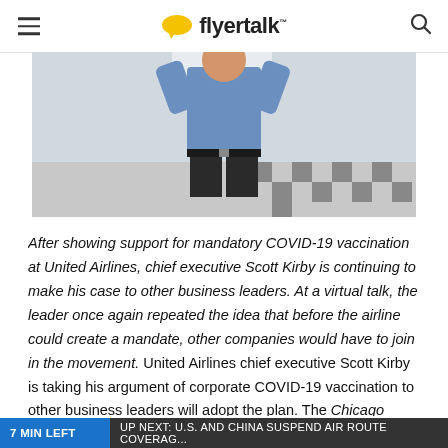flyertalk
[Figure (photo): Person in blue shirt standing in a corridor with black and white checkered floor, hands raised near collar]
After showing support for mandatory COVID-19 vaccination at United Airlines, chief executive Scott Kirby is continuing to make his case to other business leaders. At a virtual talk, the leader once again repeated the idea that before the airline could create a mandate, other companies would have to join in the movement. United Airlines chief executive Scott Kirby is taking his argument of corporate COVID-19 vaccination to other business leaders will adopt the plan. The Chicago Tribune reports the aviation leader presented on the idea at a meeting of the Economic Club of
7 MIN LEFT   UP NEXT: U.S. AND CHINA SUSPEND AIR ROUTE COVERAGE...